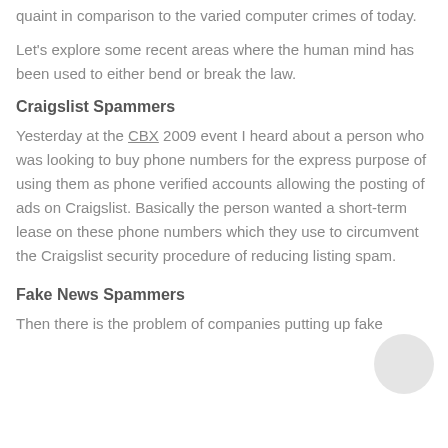quaint in comparison to the varied computer crimes of today.
Let's explore some recent areas where the human mind has been used to either bend or break the law.
Craigslist Spammers
Yesterday at the CBX 2009 event I heard about a person who was looking to buy phone numbers for the express purpose of using them as phone verified accounts allowing the posting of ads on Craigslist. Basically the person wanted a short-term lease on these phone numbers which they use to circumvent the Craigslist security procedure of reducing listing spam.
Fake News Spammers
Then there is the problem of companies putting up fake